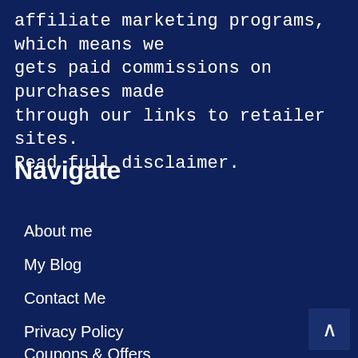affiliate marketing programs, which means we gets paid commissions on purchases made through our links to retailer sites. Read full disclaimer.
Navigate
About me
My Blog
Contact Me
Privacy Policy
Coupons & Offers